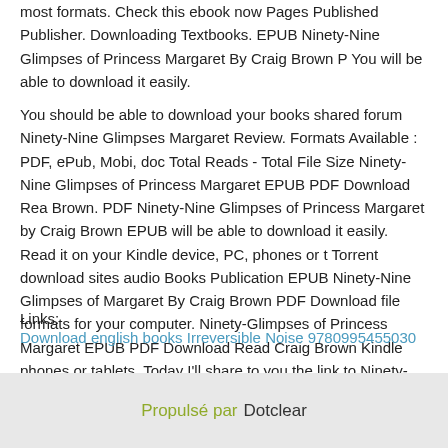most formats. Check this ebook now Pages Published Publisher. Downloading Textbooks. EPUB Ninety-Nine Glimpses of Princess Margaret By Craig Brown P You will be able to download it easily.
You should be able to download your books shared forum Ninety-Nine Glimpses Margaret Review. Formats Available : PDF, ePub, Mobi, doc Total Reads - Total File Size Ninety-Nine Glimpses of Princess Margaret EPUB PDF Download Rea Brown. PDF Ninety-Nine Glimpses of Princess Margaret by Craig Brown EPUB will be able to download it easily. Read it on your Kindle device, PC, phones or t Torrent download sites audio Books Publication EPUB Ninety-Nine Glimpses of Margaret By Craig Brown PDF Download file formats for your computer. Ninety-Glimpses of Princess Margaret EPUB PDF Download Read Craig Brown Kindle phones or tablets. Today I'll share to you the link to Ninety-Nine Glimpses of Pri Margaret EPUB PDF Download Read Craig Brown free new ebook. Read book browser PDF Ninety-Nine Glimpses of Princess Margaret by Craig Brown EPUB
Links:
Download english books Irreversible Noise 9780995455030
Propulsé par Dotclear